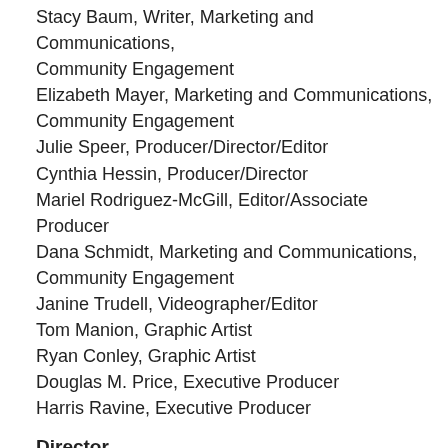Stacy Baum, Writer, Marketing and Communications, Community Engagement
Elizabeth Mayer, Marketing and Communications, Community Engagement
Julie Speer, Producer/Director/Editor
Cynthia Hessin, Producer/Director
Mariel Rodriguez-McGill, Editor/Associate Producer
Dana Schmidt, Marketing and Communications, Community Engagement
Janine Trudell, Videographer/Editor
Tom Manion, Graphic Artist
Ryan Conley, Graphic Artist
Douglas M. Price, Executive Producer
Harris Ravine, Executive Producer
Director
“Urban Rez”
Rocky Mountain PBS, Denver
Lisa D. Olken, Director -- Post Production
“Daniel Mercure, Boulder Box Set: Andy and Renee”
Rocky Mountain PBS, Denver